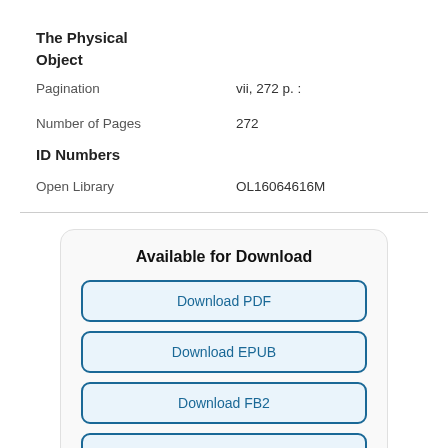The Physical Object
Pagination    vii, 272 p. :
Number of Pages    272
ID Numbers
Open Library    OL16064616M
Available for Download
Download PDF
Download EPUB
Download FB2
Download MOBI